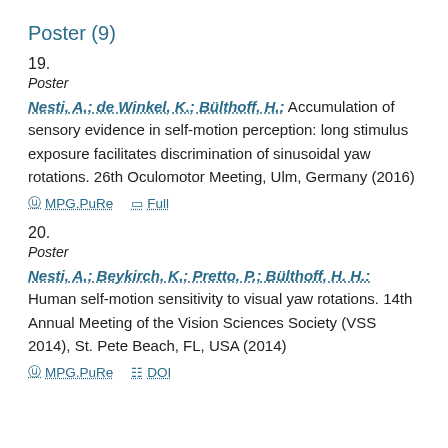Poster (9)
19.
Poster
Nesti, A.; de Winkel, K.; Bülthoff, H.: Accumulation of sensory evidence in self-motion perception: long stimulus exposure facilitates discrimination of sinusoidal yaw rotations. 26th Oculomotor Meeting, Ulm, Germany (2016)
MPG.PuRe   Full
20.
Poster
Nesti, A.; Beykirch, K.; Pretto, P.; Bülthoff, H. H.: Human self-motion sensitivity to visual yaw rotations. 14th Annual Meeting of the Vision Sciences Society (VSS 2014), St. Pete Beach, FL, USA (2014)
MPG.PuRe   DOI